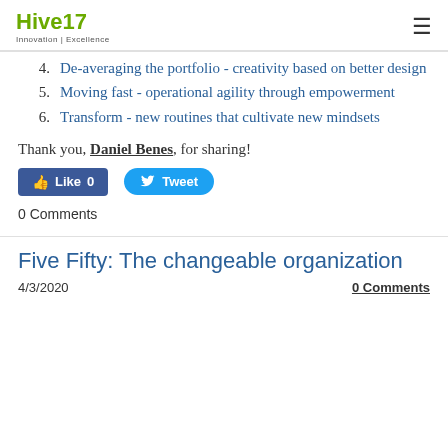Hive17 Innovation | Excellence
4.  De-averaging the portfolio - creativity based on better design
5.  Moving fast - operational agility through empowerment
6.  Transform - new routines that cultivate new mindsets
Thank you, Daniel Benes, for sharing!
[Figure (other): Facebook Like button showing 0 likes and Twitter Tweet button]
0 Comments
Five Fifty: The changeable organization
4/3/2020   0 Comments